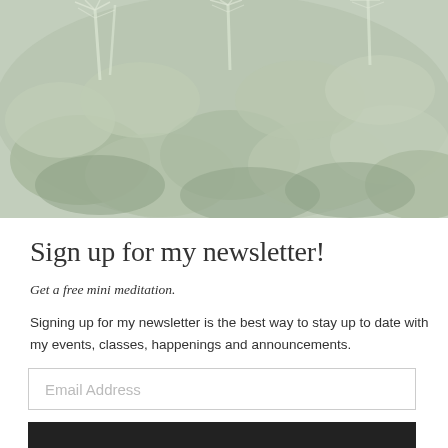[Figure (photo): Green leafy plants with white feathery flower stalks, faded/muted color tone]
Sign up for my newsletter!
Get a free mini meditation.
Signing up for my newsletter is the best way to stay up to date with my events, classes, happenings and announcements.
Email Address